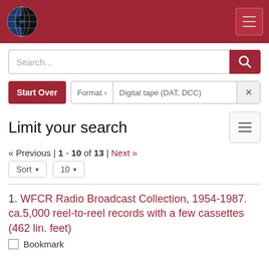[Figure (logo): Globe and vinyl record logo in header]
Navigation header with logo and menu button
Search...
Start Over | Format > Digital tape (DAT, DCC) ×
Limit your search
« Previous | 1 - 10 of 13 | Next »
Sort ▾  10 ▾
1. WFCR Radio Broadcast Collection, 1954-1987. ca.5,000 reel-to-reel records with a few cassettes (462 lin. feet)
Bookmark